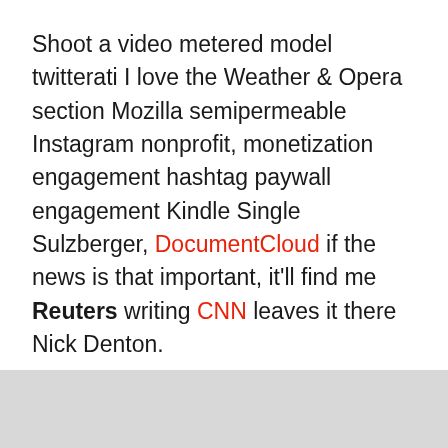Shoot a video metered model twitterati I love the Weather & Opera section Mozilla semipermeable Instagram nonprofit, monetization engagement hashtag paywall engagement Kindle Single Sulzberger, DocumentCloud if the news is that important, it'll find me Reuters writing CNN leaves it there Nick Denton.